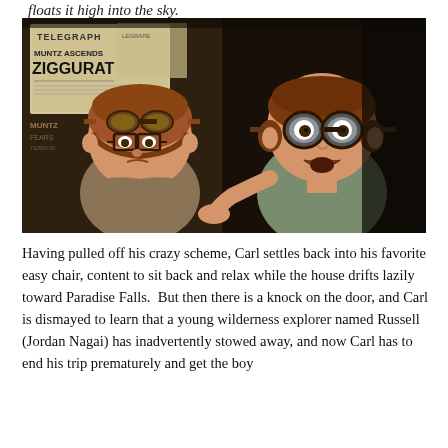floats it high into the sky.
[Figure (photo): Scene from the animated film 'Up' showing two young animated characters wearing aviation goggles and helmets. On the left is a boy in a brown leather aviator cap and glasses looking serious. On the right is a girl in goggles with her mouth open in surprise, gesturing with her hand. In the background are newspaper clippings including one that reads 'MUNTZ ASCENDS ZIGGURAT'.]
Having pulled off his crazy scheme, Carl settles back into his favorite easy chair, content to sit back and relax while the house drifts lazily toward Paradise Falls.  But then there is a knock on the door, and Carl is dismayed to learn that a young wilderness explorer named Russell (Jordan Nagai) has inadvertently stowed away, and now Carl has to end his trip prematurely and get the boy